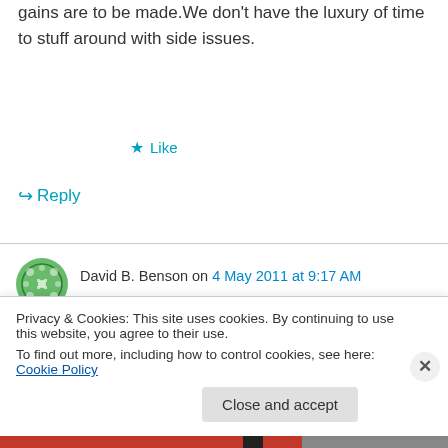gains are to be made. We don't have the luxury of time to stuff around with side issues.
★ Like
↪ Reply
David B. Benson on 4 May 2011 at 9:17 AM
Geoff Russell, on 3 May 2011 at 4:58 PM — Thanks for the link. That is indeed a fine review.
★ Like
Privacy & Cookies: This site uses cookies. By continuing to use this website, you agree to their use. To find out more, including how to control cookies, see here: Cookie Policy
Close and accept